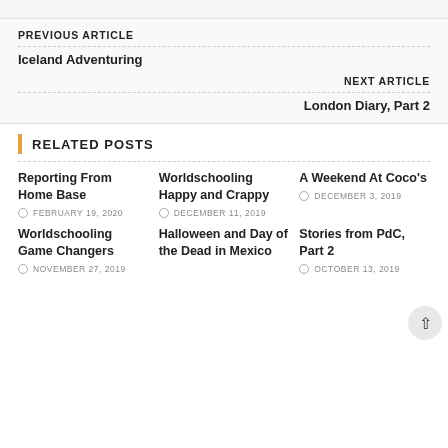PREVIOUS ARTICLE
Iceland Adventuring
NEXT ARTICLE
London Diary, Part 2
RELATED POSTS
Reporting From Home Base
FEBRUARY 19, 2020
Worldschooling Happy and Crappy
DECEMBER 11, 2019
A Weekend At Coco's
DECEMBER 3, 2019
Worldschooling Game Changers
NOVEMBER 27, 2019
Halloween and Day of the Dead in Mexico
Stories from PdC, Part 2
OCTOBER 13, 2019